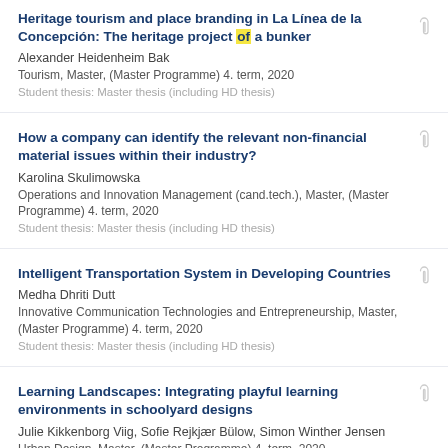Heritage tourism and place branding in La Línea de la Concepción: The heritage project of a bunker
Alexander Heidenheim Bak
Tourism, Master, (Master Programme) 4. term, 2020
Student thesis: Master thesis (including HD thesis)
How a company can identify the relevant non-financial material issues within their industry?
Karolina Skulimowska
Operations and Innovation Management (cand.tech.), Master, (Master Programme) 4. term, 2020
Student thesis: Master thesis (including HD thesis)
Intelligent Transportation System in Developing Countries
Medha Dhriti Dutt
Innovative Communication Technologies and Entrepreneurship, Master, (Master Programme) 4. term, 2020
Student thesis: Master thesis (including HD thesis)
Learning Landscapes: Integrating playful learning environments in schoolyard designs
Julie Kikkenborg Viig, Sofie Rejkjær Bülow, Simon Winther Jensen
Urban Design, Master, (Master Programme) 4. term, 2020
Student thesis: Master thesis (including HD thesis)